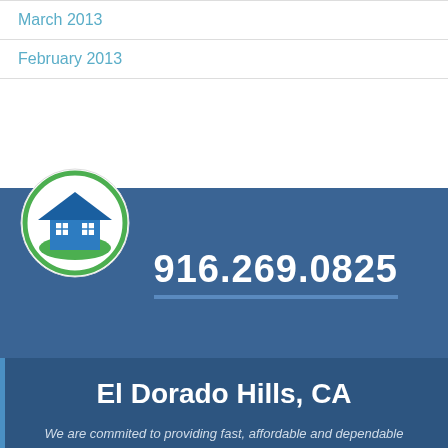March 2013
February 2013
[Figure (logo): House logo with green circular border and blue house icon with green lawn]
916.269.0825
El Dorado Hills, CA
We are commited to providing fast, affordable and dependable HVAC service, repair and installation in El Dorado Hills and the Greater Sacramento area.
CALIFORNIA ENERGY SERVICES
4905 Golden Foothill Pkwy #A